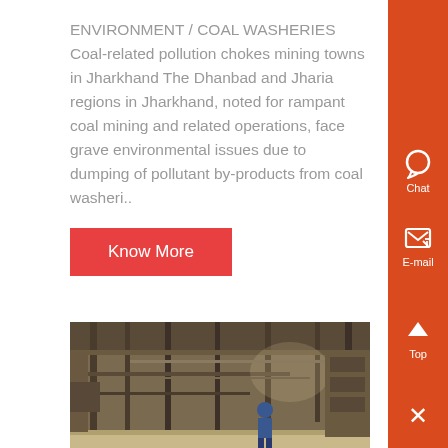ENVIRONMENT / COAL WASHERIES Coal-related pollution chokes mining towns in Jharkhand The Dhanbad and Jharia regions in Jharkhand, noted for rampant coal mining and related operations, face grave environmental issues due to dumping of pollutant by-products from coal washeri..
Know More
[Figure (photo): Interior of an industrial coal washery facility showing machinery, metal structures, and a worker in the background]
information dhanbad coal mine disaster
dhanbad coal mine disaster full ppt Jharkhand - NIDM , full o dissected hills having a hill station, Netarhat, at the top , The